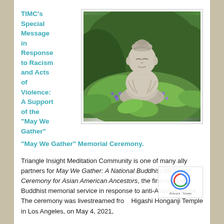TIMC's Special Message in Response to Racism and Acts of Violence: A Support of the “May We Gather” Memorial Ceremony.
[Figure (photo): A stone Buddha statue surrounded by lush green foliage and purple flowering plants in a garden setting.]
Triangle Insight Meditation Community is one of many ally partners for May We Gather: A National Buddhist Memorial Ceremony for Asian American Ancestors, the first national Buddhist memorial service in response to anti-Asian violence. The ceremony was livestreamed from Higashi Honganji Temple in Los Angeles, on May 4, 2021,